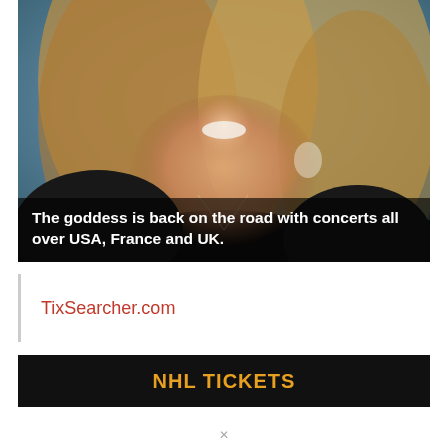[Figure (photo): A smiling woman with long wavy blonde highlighted hair, wearing a black dress with jewelry including drop earrings and a long necklace, photographed against a blue-grey background.]
The goddess is back on the road with concerts all over USA, France and UK.
TixSearcher.com
NHL TICKETS